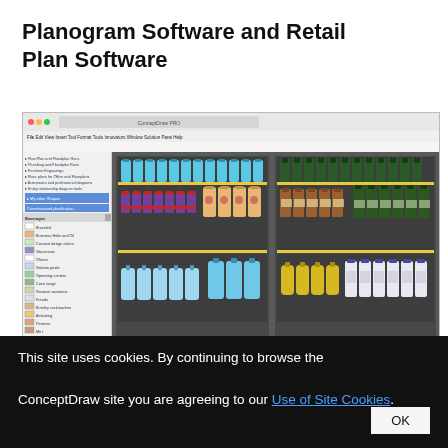Planogram Software and Retail Plan Software
[Figure (screenshot): Screenshot of ConceptDraw PRO software showing a planogram with beverage shelves displaying various bottles including water, wine, spirits, and juice organized on retail shelving units. The interface shows a sidebar with shape libraries and a main canvas with the planogram design.]
This site uses cookies. By continuing to browse the ConceptDraw site you are agreeing to our Use of Site Cookies.